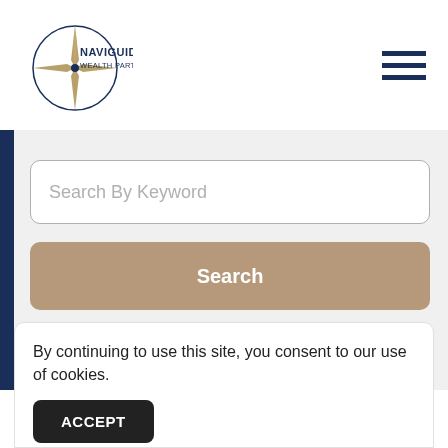[Figure (logo): NaviGuide Wealth Partners, Inc. logo with compass star and circular text element]
Search By Keyword
Search
By continuing to use this site, you consent to our use of cookies.
ACCEPT